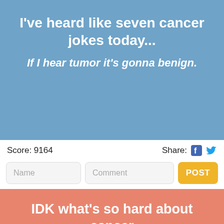I've heard like seven cancer jokes today...
If I hear tumor it's gonna benign.
Score: 9164
Share:
Name
Comment
POST
IDK what's so hard about cancer